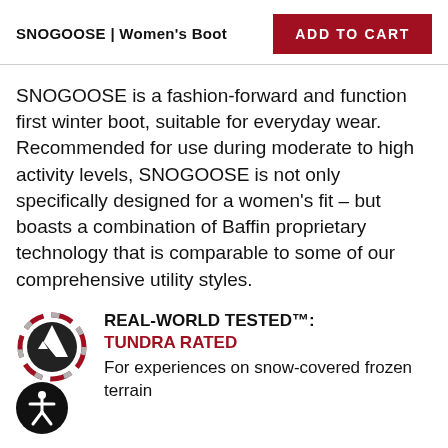SNOGOOSE | Women's Boot
ADD TO CART
SNOGOOSE is a fashion-forward and function first winter boot, suitable for everyday wear. Recommended for use during moderate to high activity levels, SNOGOOSE is not only specifically designed for a women’s fit – but boasts a combination of Baffin proprietary technology that is comparable to some of our comprehensive utility styles.
[Figure (logo): Tundra Rated badge: circular dashed border in red and grey with mountain icon]
REAL-WORLD TESTED™: TUNDRA RATED For experiences on snow-covered frozen terrain
[Figure (logo): Accessibility icon: black circle with white person figure]